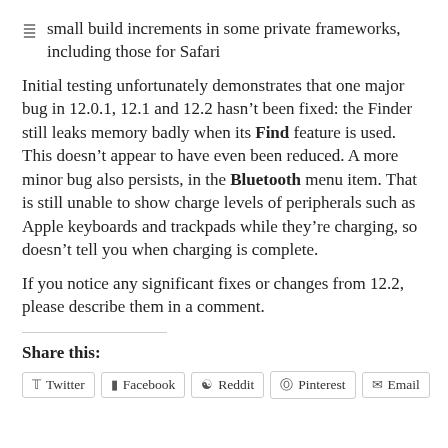small build increments in some private frameworks, including those for Safari
Initial testing unfortunately demonstrates that one major bug in 12.0.1, 12.1 and 12.2 hasn’t been fixed: the Finder still leaks memory badly when its Find feature is used. This doesn’t appear to have even been reduced. A more minor bug also persists, in the Bluetooth menu item. That is still unable to show charge levels of peripherals such as Apple keyboards and trackpads while they’re charging, so doesn’t tell you when charging is complete.
If you notice any significant fixes or changes from 12.2, please describe them in a comment.
Share this:
Twitter  Facebook  Reddit  Pinterest  Email